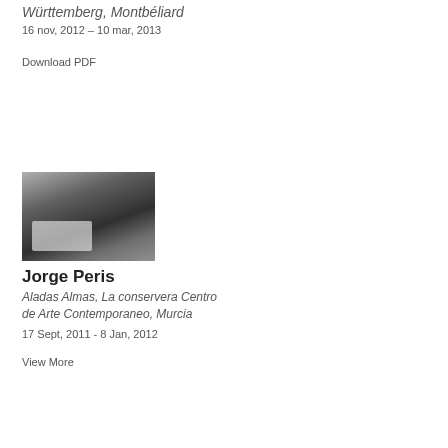Württemberg, Montbéliard
16 nov, 2012 – 10 mar, 2013
Download PDF
[Figure (photo): Interior of an art gallery space showing white geometric sculptural forms covered partially in clear plastic sheeting, with dark walls and industrial ceiling visible in the background.]
Jorge Peris
Aladas Almas, La conservera Centro de Arte Contemporaneo, Murcia
17 Sept, 2011 - 8 Jan, 2012
View More